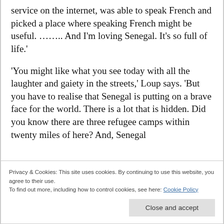service on the internet, was able to speak French and picked a place where speaking French might be useful. …….. And I'm loving Senegal. It's so full of life.'
'You might like what you see today with all the laughter and gaiety in the streets,' Loup says. 'But you have to realise that Senegal is putting on a brave face for the world. There is a lot that is hidden. Did you know there are three refugee camps within twenty miles of here? And, Senegal
Privacy & Cookies: This site uses cookies. By continuing to use this website, you agree to their use.
To find out more, including how to control cookies, see here: Cookie Policy
Close and accept